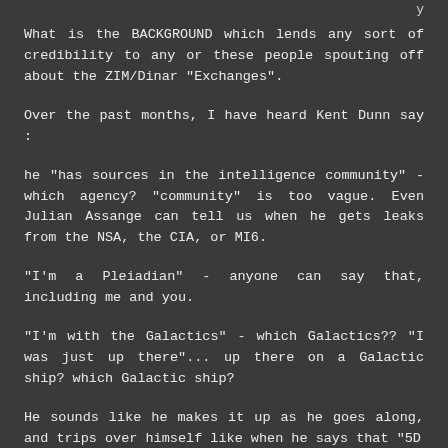What is the BACKGROUND which lends any sort of credibility to any or these people spouting off about the ZIM/Dinar "Exchanges".
Over the past months, I have heard Kent Dunn say :
he "has sources in the intelligence community" - which agency? "community" is too vague. Even Julian Assange can tell us when he gets leaks from the NSA, the CIA, or MI6.
"I'm a Pleiadian" - anyone can say that, including me and you.
"I'm with the Galactics" - which Galactics?? "I was just up there"... up there on a Galactic ship? which Galactic ship?
He sounds like he makes it up as he goes along, and trips over himself like when he says that "5D